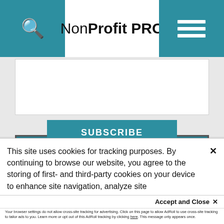NonProfit PRO
[Figure (logo): NonProfit PRO subscribe banner with teal background showing logo and tagline: The latest news in the NonProfit industry sent straight to your e-mail inbox.]
This site uses cookies for tracking purposes. By continuing to browse our website, you agree to the storing of first- and third-party cookies on your device to enhance site navigation, analyze site usage, and assist in our marketing and
Accept and Close ✕
Your browser settings do not allow cross-site tracking for advertising. Click on this page to allow AdRoll to use cross-site tracking to tailor ads to you. Learn more or opt out of this AdRoll tracking by clicking here. This message only appears once.